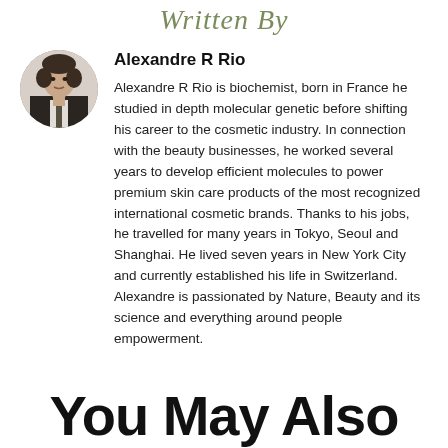Written By
Alexandre R Rio
Alexandre R Rio is biochemist, born in France he studied in depth molecular genetic before shifting his career to the cosmetic industry. In connection with the beauty businesses, he worked several years to develop efficient molecules to power premium skin care products of the most recognized international cosmetic brands. Thanks to his jobs, he travelled for many years in Tokyo, Seoul and Shanghai. He lived seven years in New York City and currently established his life in Switzerland. Alexandre is passionated by Nature, Beauty and its science and everything around people empowerment.
[Figure (photo): Circular profile photo of Alexandre R Rio, a man in a suit with short hair]
You May Also